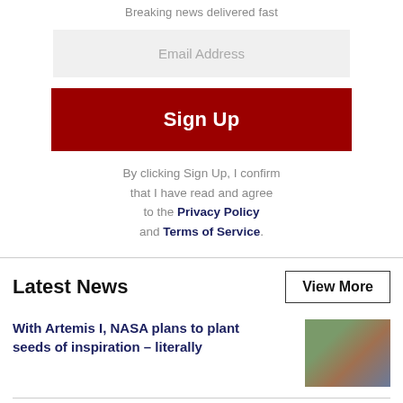Breaking news delivered fast
Email Address
Sign Up
By clicking Sign Up, I confirm that I have read and agree to the Privacy Policy and Terms of Service.
Latest News
View More
With Artemis I, NASA plans to plant seeds of inspiration – literally
[Figure (photo): Thumbnail photo related to NASA Artemis article]
It is rocket science: How long did it take NASA
[Figure (photo): Thumbnail photo related to rocket science article]